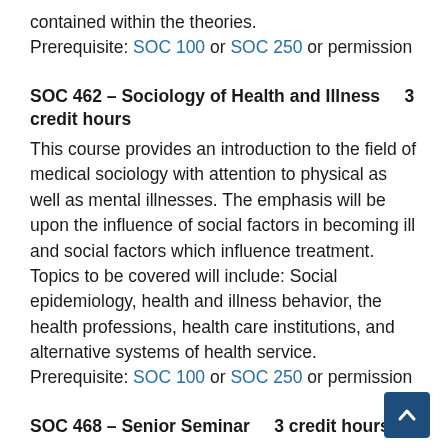contained within the theories.
Prerequisite: SOC 100 or SOC 250 or permission
SOC 462 – Sociology of Health and Illness    3 credit hours
This course provides an introduction to the field of medical sociology with attention to physical as well as mental illnesses. The emphasis will be upon the influence of social factors in becoming ill and social factors which influence treatment. Topics to be covered will include: Social epidemiology, health and illness behavior, the health professions, health care institutions, and alternative systems of health service.
Prerequisite: SOC 100 or SOC 250 or permission
SOC 468 – Senior Seminar    3 credit hours
Seminar serves as a capstone for the general degree option in sociology. The philosophical